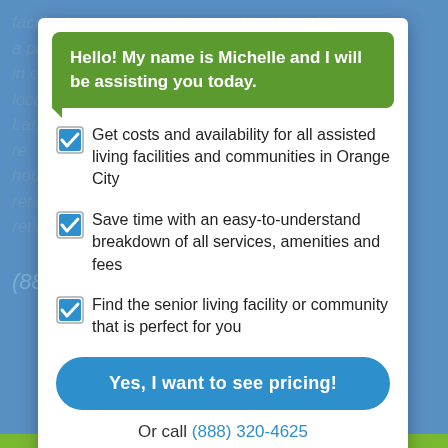Hello! My name is Michelle and I will be assisting you today.
Get costs and availability for all assisted living facilities and communities in Orange City
Save time with an easy-to-understand breakdown of all services, amenities and fees
Find the senior living facility or community that is perfect for you
Yes, I want to see pricing!
Or call (888) 320-4625